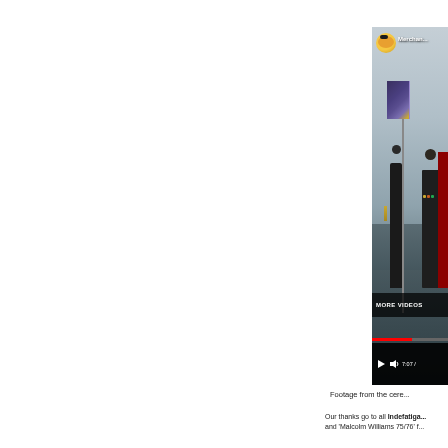[Figure (screenshot): YouTube video screenshot showing military color guard with flag at a waterfront ceremony. Channel avatar visible top left of video with 'Mercha...' channel name. 'MORE VIDEOS' overlay bar visible. Video controls show play button, volume, and timestamp '7:07'. Red progress bar partially across video.]
Footage from the cere...
Our thanks go to all Indefatiga... and 'Malcolm Williams 75/76' f...